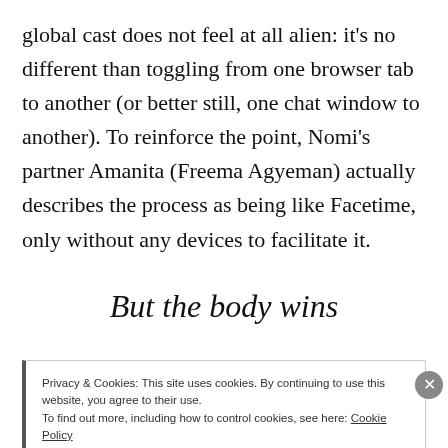global cast does not feel at all alien: it's no different than toggling from one browser tab to another (or better still, one chat window to another). To reinforce the point, Nomi's partner Amanita (Freema Agyeman) actually describes the process as being like Facetime, only without any devices to facilitate it.
But the body wins
Privacy & Cookies: This site uses cookies. By continuing to use this website, you agree to their use.
To find out more, including how to control cookies, see here: Cookie Policy